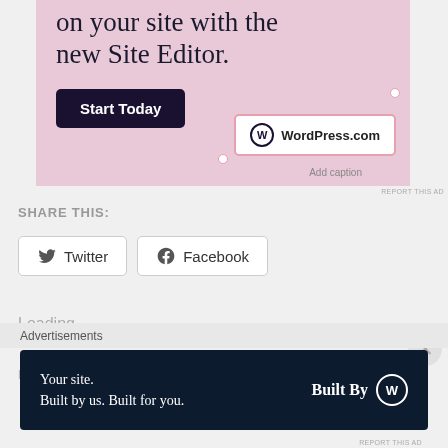[Figure (screenshot): WordPress.com advertisement banner with pink background. Text reads 'on your site with the new Site Editor.' with a dark 'Start Today' button, and a WordPress.com logo box with 'Add caption' label below it.]
REPORT THIS AD
SHARE THIS:
[Figure (screenshot): Twitter share button with bird icon and text 'Twitter']
[Figure (screenshot): Facebook share button with Facebook icon and text 'Facebook']
Loading...
Advertisements
[Figure (screenshot): WordPress.com advertisement banner with dark navy background. Text reads 'Your site. Built by us. Built for you.' with 'Built By' WordPress logo on the right.]
REPORT THIS AD